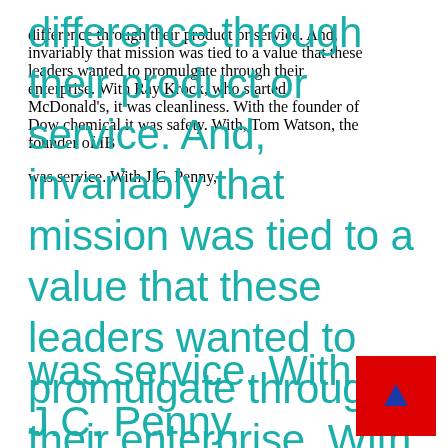difference through their product or service. And, invariably that mission was tied to a value that these leaders wanted to promulgate through their enterprise. With Ray Krock, who started McDonald's, it was cleanliness. With the founder of Dow chemical it was safety. With, Tom Watson, the founder of IBM it was service. With J.C. Penny,